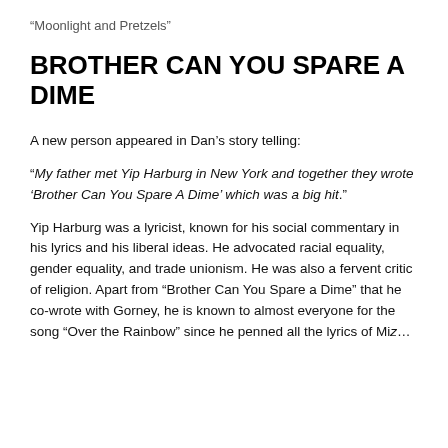“Moonlight and Pretzels”
BROTHER CAN YOU SPARE A DIME
A new person appeared in Dan’s story telling:
“My father met Yip Harburg in New York and together they wrote ‘Brother Can You Spare A Dime’ which was a big hit.”
Yip Harburg was a lyricist, known for his social commentary in his lyrics and his liberal ideas. He advocated racial equality, gender equality, and trade unionism. He was also a fervent critic of religion. Apart from “Brother Can You Spare a Dime” that he co-wrote with Gorney, he is known to almost everyone for the song “Over the Rainbow” since he penned all the lyrics of Miz…